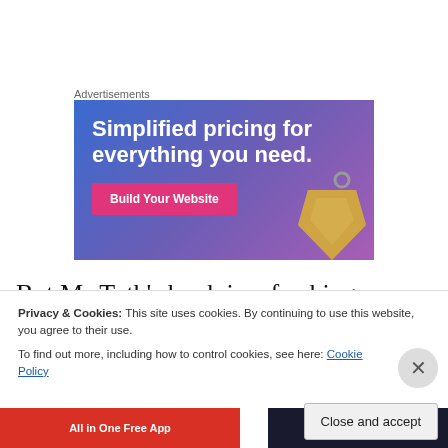Advertisements
[Figure (other): Advertisement banner: gradient blue-purple background with white bold text 'Simplified pricing for everything you need.' and a pink 'Build Your Website' button, with a price tag image on the right.]
But Ms Toth’s book is refreshing, despite its lack of panache. It’s totally commonsensical. And: you don’t
Privacy & Cookies: This site uses cookies. By continuing to use this website, you agree to their use.
To find out more, including how to control cookies, see here: Cookie Policy
Close and accept